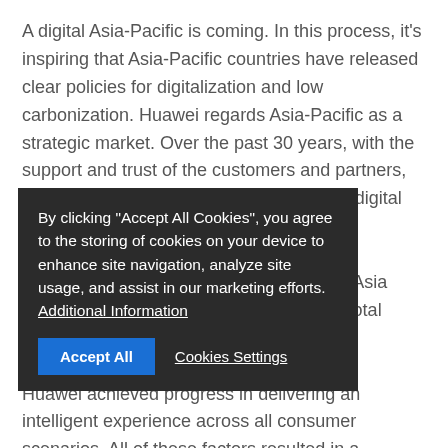A digital Asia-Pacific is coming. In this process, it's inspiring that Asia-Pacific countries have released clear policies for digitalization and low carbonization. Huawei regards Asia-Pacific as a strategic market. Over the past 30 years, with the support and trust of the customers and partners, Huawei is proud to be part of the region's digital transformation.
According to Huawei 2021 annual report, Asia Pacific accounted for 16.7% of Huawei's total revenue.
Huawei achieved progress in delivering an intelligent experience across all consumer scenarios. All of these factors resulted in a revenue of CNY53,675
[Figure (screenshot): Cookie consent banner overlay on the page. Text reads: 'By clicking "Accept All Cookies", you agree to the storing of cookies on your device to enhance site navigation, analyze site usage, and assist in our marketing efforts. Additional Information'. Two buttons: 'Accept All' (blue) and 'Cookies Settings' (underlined text).]